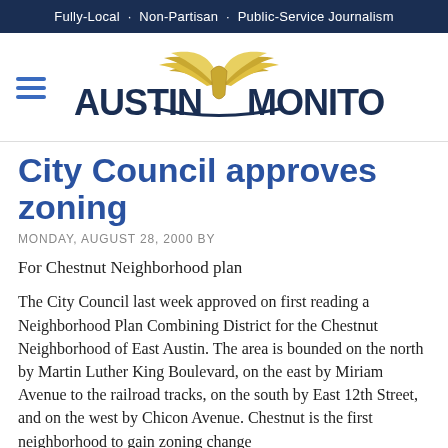Fully-Local · Non-Partisan · Public-Service Journalism
[Figure (logo): Austin Monitor logo with winged emblem and bold sans-serif text]
City Council approves zoning
MONDAY, AUGUST 28, 2000 BY
For Chestnut Neighborhood plan
The City Council last week approved on first reading a Neighborhood Plan Combining District for the Chestnut Neighborhood of East Austin. The area is bounded on the north by Martin Luther King Boulevard, on the east by Miriam Avenue to the railroad tracks, on the south by East 12th Street, and on the west by Chicon Avenue. Chestnut is the first neighborhood to gain zoning change